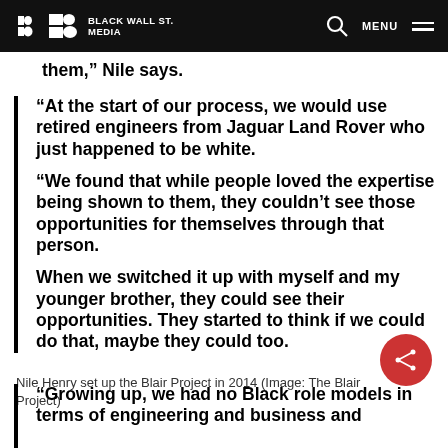BLACK WALL ST. MEDIA
them," Nile says.
“At the start of our process, we would use retired engineers from Jaguar Land Rover who just happened to be white. “We found that while people loved the expertise being shown to them, they couldn’t see those opportunities for themselves through that person. When we switched it up with myself and my younger brother, they could see their opportunities. They started to think if we could do that, maybe they could too.
Nile Henry set up the Blair Project in 2014 (Image: The Blair Project)
“Growing up, we had no Black role models in terms of engineering and business and